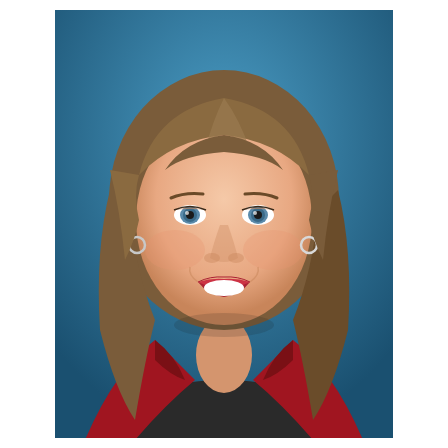[Figure (photo): Professional headshot of a middle-aged woman with shoulder-length light brown hair, blue eyes, wearing a red blazer over a dark top, smiling warmly against a blue gradient background.]